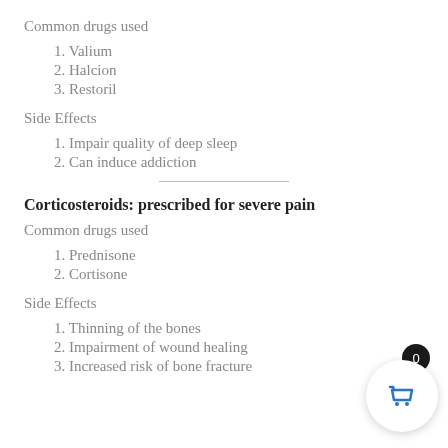Common drugs used
1. Valium
2. Halcion
3. Restoril
Side Effects
1. Impair quality of deep sleep
2. Can induce addiction
Corticosteroids: prescribed for severe pain
Common drugs used
1. Prednisone
2. Cortisone
Side Effects
1. Thinning of the bones
2. Impairment of wound healing
3. Increased risk of bone fracture